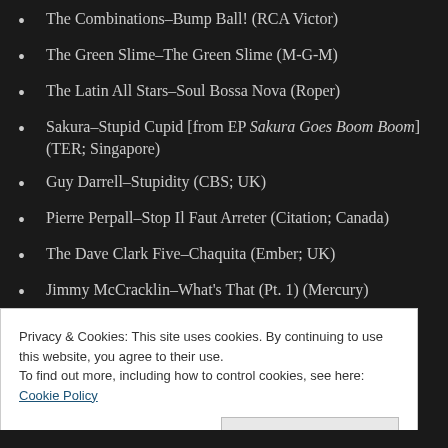The Combinations–Bump Ball! (RCA Victor)
The Green Slime–The Green Slime (M-G-M)
The Latin All Stars–Soul Bossa Nova (Roper)
Sakura–Stupid Cupid [from EP Sakura Goes Boom Boom] (TER; Singapore)
Guy Darrell–Stupidity (CBS; UK)
Pierre Perpall–Stop Il Faut Arreter (Citation; Canada)
The Dave Clark Five–Chaquita (Ember; UK)
Jimmy McCracklin–What's That (Pt. 1) (Mercury)
Barbara & the Browns–You Don't Love Me
Privacy & Cookies: This site uses cookies. By continuing to use this website, you agree to their use. To find out more, including how to control cookies, see here: Cookie Policy